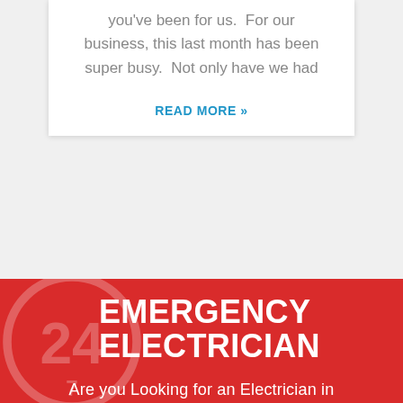you've been for us.  For our business, this last month has been super busy.  Not only have we had
READ MORE »
EMERGENCY ELECTRICIAN
Are you Looking for an Electrician in